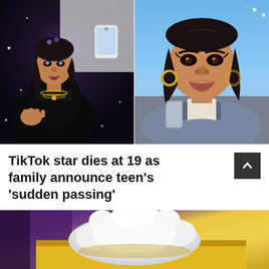[Figure (photo): Two side-by-side photos of a young woman. Left: mirror selfie wearing black turtleneck with gold necklaces, dark hair. Right: close-up selfie with gold hoop earrings, holding phone, wearing blue-gray jacket outdoors.]
TikTok star dies at 19 as family announce teen's 'sudden passing'
[Figure (photo): Partial photo showing a fluffy white animal (likely a dog) on a yellow surface with purple fabric visible in background.]